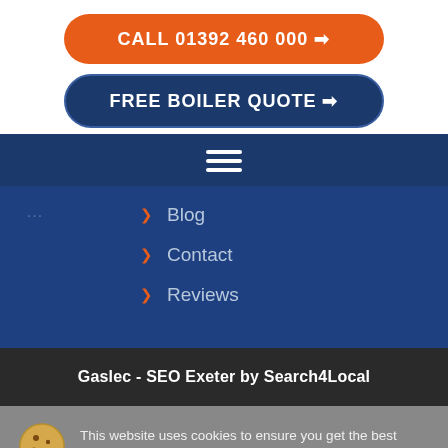CALL 01392 460 000 →
FREE BOILER QUOTE →
[Figure (screenshot): Hamburger menu icon (three white horizontal bars) on dark blue navigation bar]
Blog
Contact
Reviews
Gaslec - SEO Exeter by Search4Local
This website uses cookies to ensure you get the best experience on our website: Find out more.
Got It